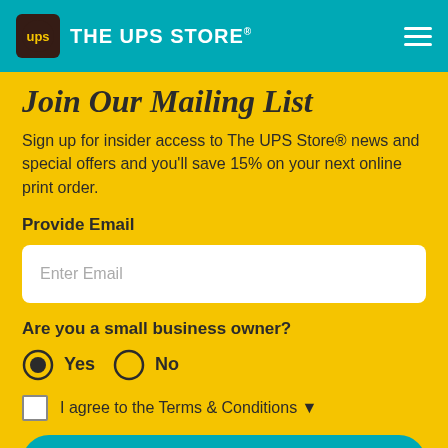THE UPS STORE
Join Our Mailing List
Sign up for insider access to The UPS Store® news and special offers and you'll save 15% on your next online print order.
Provide Email
Enter Email
Are you a small business owner?
Yes  No
I agree to the Terms & Conditions
Join